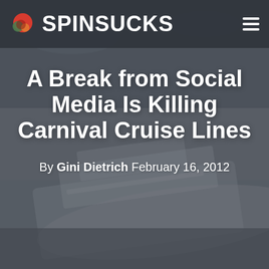SPINSUCKS
A Break from Social Media Is Killing Carnival Cruise Lines
By Gini Dietrich February 16, 2012
[Figure (photo): Blurred background photo of a large cruise ship tilted, shown in greyscale/muted tones behind the article headline]